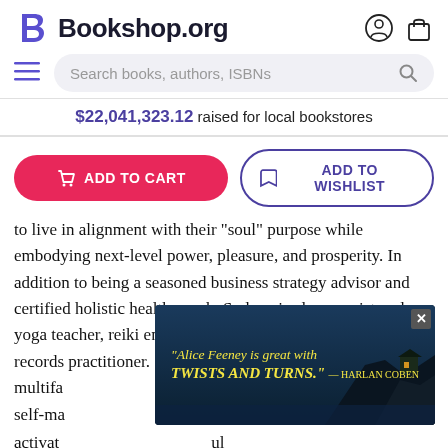Bookshop.org
$22,041,323.12 raised for local bookstores
ADD TO CART | ADD TO WISHLIST
to live in alignment with their "soul" purpose while embodying next-level power, pleasure, and prosperity. In addition to being a seasoned business strategy advisor and certified holistic health coach, Sydney is also a registered yoga teacher, reiki energy healer, and certified akashic records practitioner. Sydney shares her multifa...toring, self-ma...activat...ul sessio...has
[Figure (screenshot): Advertisement overlay: dark background with cliff/house silhouette, yellow italic text: "Alice Feeney is great with TWISTS AND TURNS." — HARLAN COBEN, with a close (x) button]